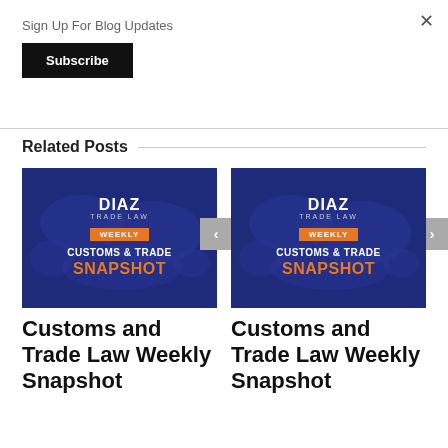×
Sign Up For Blog Updates
Subscribe
Related Posts
[Figure (illustration): Diaz Trade Law – Weekly Customs & Trade Snapshot logo on dark blue background with world map]
Customs and Trade Law Weekly Snapshot
[Figure (illustration): Diaz Trade Law – Weekly Customs & Trade Snapshot logo on dark blue background with world map]
Customs and Trade Law Weekly Snapshot